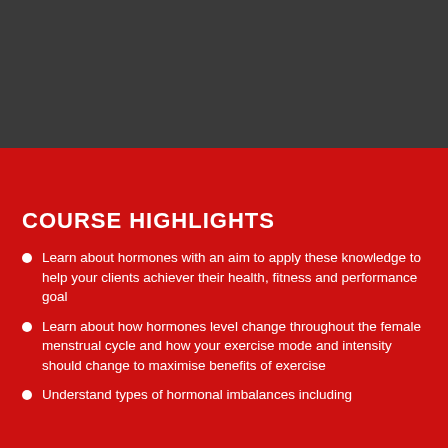COURSE HIGHLIGHTS
Learn about hormones with an aim to apply these knowledge to help your clients achiever their health, fitness and performance goal
Learn about how hormones level change throughout the female menstrual cycle and how your exercise mode and intensity should change to maximise benefits of exercise
Understand types of hormonal imbalances including